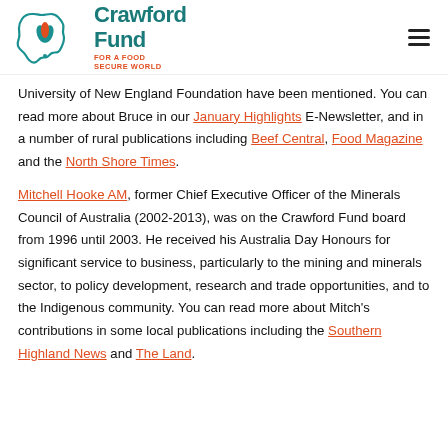[Figure (logo): Crawford Fund logo — Australia map outline with orange/teal leaf motif, text 'Crawford Fund FOR A FOOD SECURE WORLD' in teal and orange]
University of New England Foundation have been mentioned. You can read more about Bruce in our January Highlights E-Newsletter, and in a number of rural publications including Beef Central, Food Magazine and the North Shore Times.
Mitchell Hooke AM, former Chief Executive Officer of the Minerals Council of Australia (2002-2013), was on the Crawford Fund board from 1996 until 2003. He received his Australia Day Honours for significant service to business, particularly to the mining and minerals sector, to policy development, research and trade opportunities, and to the Indigenous community. You can read more about Mitch's contributions in some local publications including the Southern Highland News and The Land.
Congratulations to the recipients, and thanks goes out for their